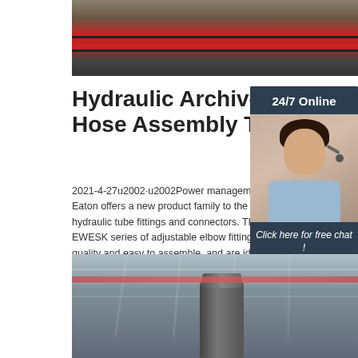[Figure (photo): Industrial red machinery/conveyor equipment photo at top of page]
Hydraulic Archives - Hose Assembly Tips
2021-4-27u2002·u2002Power management co Eaton offers a new product family to the Walte hydraulic tube fittings and connectors. The Wa EWESK series of adjustable elbow fittings are quality and easy to assemble, and are ideal fo OEMs seeking an end-to-end tube-fitting …
[Figure (photo): 24/7 Online chat widget sidebar with woman wearing headset and orange QUOTATION button]
[Figure (other): Orange TOP navigation icon with dots arranged in house shape]
[Figure (photo): Industrial warehouse interior with overhead crane or cylindrical equipment at bottom of page]